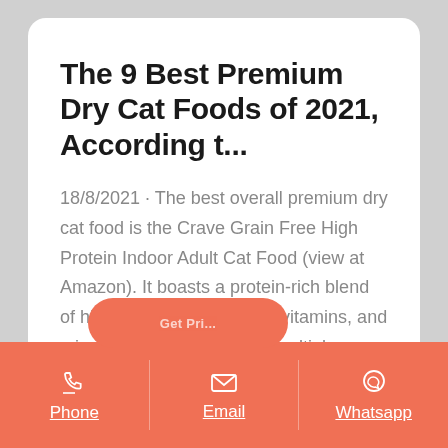The 9 Best Premium Dry Cat Foods of 2021, According t…
18/8/2021 · The best overall premium dry cat food is the Crave Grain Free High Protein Indoor Adult Cat Food (view at Amazon). It boasts a protein-rich blend of high-quality meat, carbs, vitamins, and minerals. Plus, it comes in multiple feline-approved
Phone | Email | Whatsapp